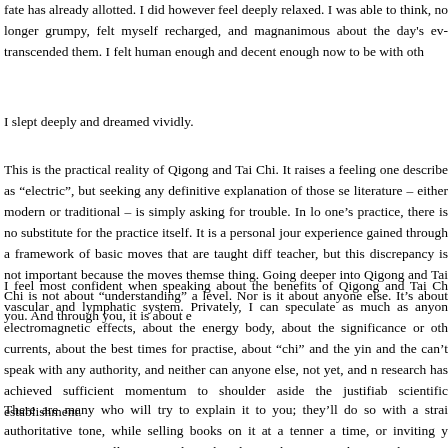fate has already allotted. I did however feel deeply relaxed. I was able to think, no longer grumpy, felt myself recharged, and magnanimous about the day's events, not transcended them. I felt human enough and decent enough now to be with others.
I slept deeply and dreamed vividly.
This is the practical reality of Qigong and Tai Chi. It raises a feeling one might describe as "electric", but seeking any definitive explanation of those sensations in literature – either modern or traditional – is simply asking for trouble. In looking for one's practice, there is no substitute for the practice itself. It is a personal journey of experience gained through a framework of basic moves that are taught differently by each teacher, but this discrepancy is not important because the moves themselves are the same thing. Going deeper into Qigong and Tai Chi is not about "understanding" at an academic level. Nor is it about anyone else. It's about you. And through you, it is about everyone.
I feel most confident when speaking about the benefits of Qigong and Tai Chi on the cardiovascular and lymphatic system. Privately, I can speculate as much as anyone about the electromagnetic effects, about the energy body, about the significance or otherwise of meridian currents, about the best times for practise, about "chi" and the yin and the yang. But I can't speak with any authority, and neither can anyone else, not yet, and not until medical research has achieved sufficient momentum to shoulder aside the justifiable scepticism of the scientific establishment.
There are many who will try to explain it to you; they'll do so with a straight authoritative tone, while selling books on it at a tenner a time, or inviting you to seminars on it, or selling you gadgets that claim to boost your chi, smooth your...